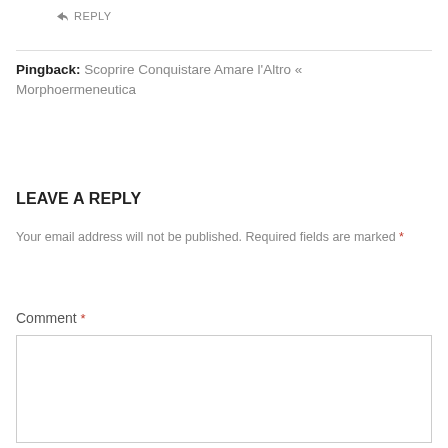↳ REPLY
Pingback: Scoprire Conquistare Amare l'Altro « Morphoermeneutica
LEAVE A REPLY
Your email address will not be published. Required fields are marked *
Comment *